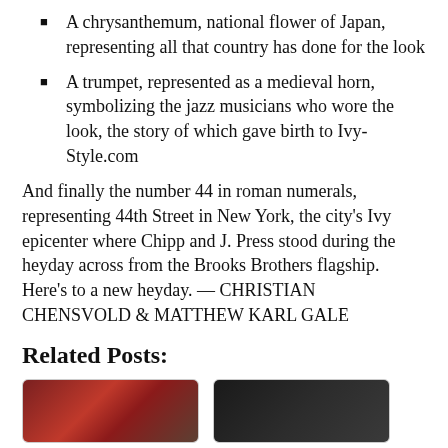A chrysanthemum, national flower of Japan, representing all that country has done for the look
A trumpet, represented as a medieval horn, symbolizing the jazz musicians who wore the look, the story of which gave birth to Ivy-Style.com
And finally the number 44 in roman numerals, representing 44th Street in New York, the city's Ivy epicenter where Chipp and J. Press stood during the heyday across from the Brooks Brothers flagship. Here's to a new heyday. — CHRISTIAN CHENSVOLD & MATTHEW KARL GALE
Related Posts:
[Figure (photo): Thumbnail image left - appears to show a person with red/dark tones]
[Figure (photo): Thumbnail image right - dark toned image]